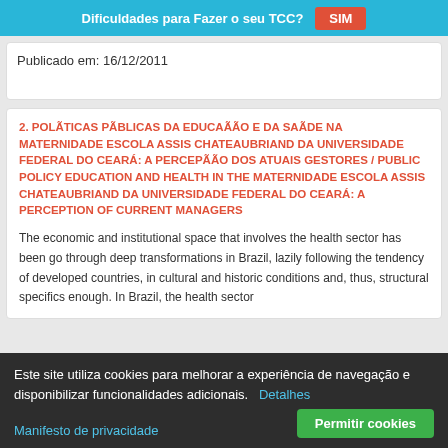Dificuldades para Fazer o seu TCC? SIM
Publicado em: 16/12/2011
2. POLÃTICAS PÃBLICAS DA EDUCAÃÃO E DA SAÃDE NA MATERNIDADE ESCOLA ASSIS CHATEAUBRIAND DA UNIVERSIDADE FEDERAL DO CEARÁ: A PERCEPÃÃO DOS ATUAIS GESTORES / PUBLIC POLICY EDUCATION AND HEALTH IN THE MATERNIDADE ESCOLA ASSIS CHATEAUBRIAND DA UNIVERSIDADE FEDERAL DO CEARÁ: A PERCEPTION OF CURRENT MANAGERS
The economic and institutional space that involves the health sector has been go through deep transformations in Brazil, lazily following the tendency of developed countries, in cultural and historic conditions and, thus, structural specifics enough. In Brazil, the health sector
Este site utiliza cookies para melhorar a experiência de navegação e disponibilizar funcionalidades adicionais. Detalhes
Manifesto de privacidade
Permitir cookies